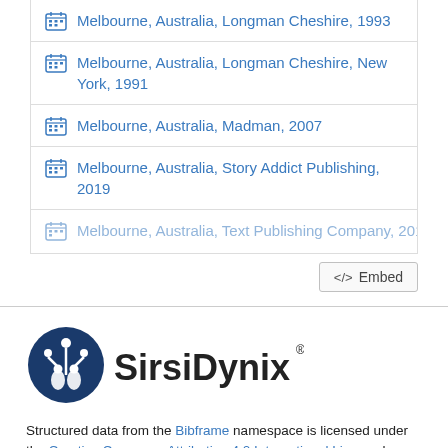Melbourne, Australia, Longman Cheshire, 1993
Melbourne, Australia, Longman Cheshire, New York, 1991
Melbourne, Australia, Madman, 2007
Melbourne, Australia, Story Addict Publishing, 2019
Melbourne, Australia, Text Publishing Company, 2016
[Figure (logo): SirsiDynix logo — dark blue circular emblem with stylized figures and flowers, followed by text 'SirsiDynix' with registered trademark symbol]
Structured data from the Bibframe namespace is licensed under the Creative Commons Attribution 4.0 International License by Randwick City Library. Additional terms may apply to data associated with third party